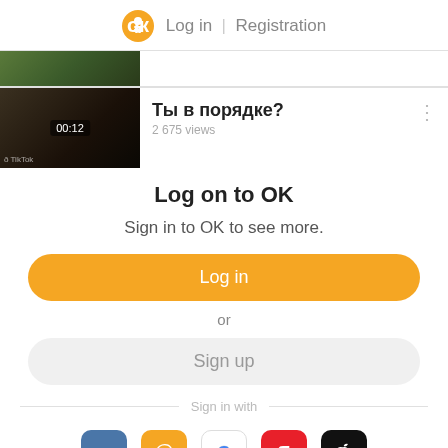Log in | Registration
[Figure (screenshot): Thumbnail image of hands weaving, partially cropped at top]
[Figure (screenshot): Video thumbnail showing hands weaving with timestamp 00:12 and TikTok icon overlay]
Ты в порядке?
2 675 views
Log on to OK
Sign in to OK to see more.
Log in
or
Sign up
Sign in with
[Figure (logo): VK logo - blue rounded square with VK letters in white]
[Figure (logo): Mail.ru logo - orange rounded square with @ symbol]
[Figure (logo): Google logo - white rounded square with G]
[Figure (logo): Yandex logo - red rounded square with Я]
[Figure (logo): Apple logo - black rounded square with apple icon]